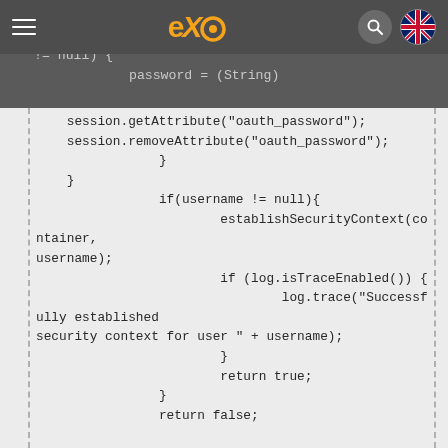eXo platform documentation header with menu, logo, search and flag icons
[Figure (screenshot): Code snippet showing Java authentication logic with session attribute handling, security context establishment, and exception handling]
}
if(session.getAttribute("oauth_password") != null) {
    password = (String) session.getAttribute("oauth_password");
    session.removeAttribute("oauth_password");
}
}
if(username != null){
    establishSecurityContext(container, username);
    if (log.isTraceEnabled()) {
        log.trace("Successfully established security context for user " + username);
    }
    return true;
}
return false;

}catch (Exception e) {
    if (log.isTraceEnabled()) {
        log.trace("Exception in login module", e);
    }
    return false;
}

protected void establishSecurityContext(ExoContainer container, String username) throws Exception {

    Authenticator authenticator = (Authenticator) container.getComponentInstanceOfType(Authenticator.class);